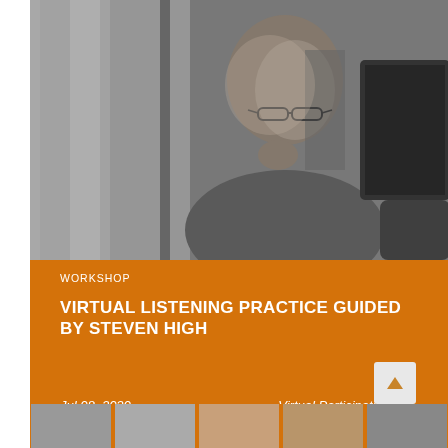[Figure (photo): Black and white photograph of a bald man with glasses sitting at a desk, resting his chin on his hand, looking thoughtfully to the side]
WORKSHOP
VIRTUAL LISTENING PRACTICE GUIDED BY STEVEN HIGH
Jul 08, 2020
Virtual Participation
[Figure (photo): Bottom strip showing small thumbnail images of event-related content]